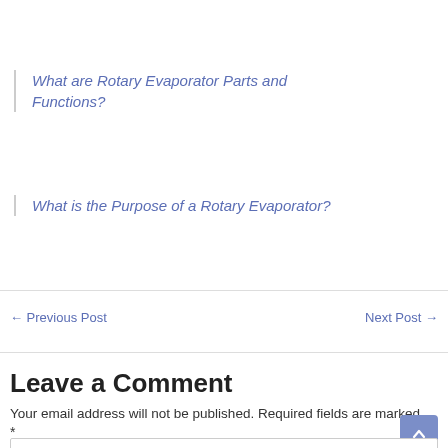What are Rotary Evaporator Parts and Functions?
What is the Purpose of a Rotary Evaporator?
← Previous Post
Next Post →
Leave a Comment
Your email address will not be published. Required fields are marked *